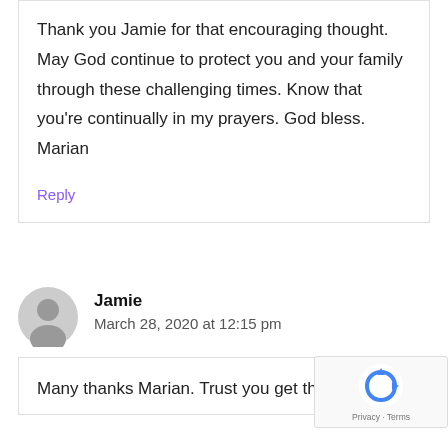Thank you Jamie for that encouraging thought. May God continue to protect you and your family through these challenging times. Know that you're continually in my prayers. God bless. Marian
Reply
Jamie
March 28, 2020 at 12:15 pm
Many thanks Marian. Trust you get the